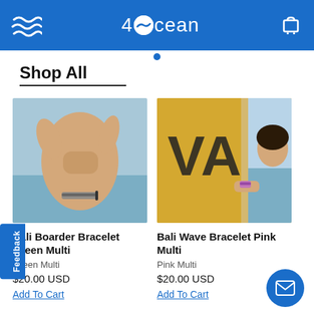4Ocean navigation bar with logo, wave icon, and cart icon
Shop All
[Figure (photo): Hand making shaka gesture on beach, wearing a braided green multi bracelet]
[Figure (photo): Woman holding yellow surfboard on beach, wearing a pink multi bracelet]
Bali Boarder Bracelet Green Multi
Green Multi
$20.00 USD
Add To Cart
Bali Wave Bracelet Pink Multi
Pink Multi
$20.00 USD
Add To Cart